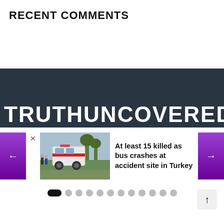RECENT COMMENTS
[Figure (logo): Dark banner with large white text logo: TRUTHUNCOVERED.TV]
[Figure (photo): News card showing ambulance at accident scene in Turkey with navigation arrows (left/right), close button, thumbnail photo, and headline text]
At least 15 killed as bus crashes at accident site in Turkey